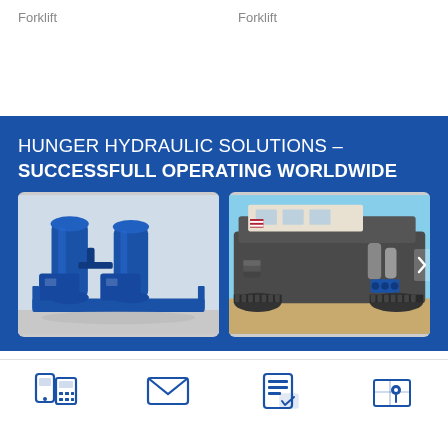Forklift
Forklift
HUNGER HYDRAULIC SOLUTIONS – SUCCESSFULL OPERATING WORLDWIDE
[Figure (photo): Blue hydraulic power unit with twin vertical cylinders and pump assembly on a steel frame]
[Figure (photo): Large industrial crawler/tracked machine with hydraulic components visible, in desert/outdoor setting]
[Figure (infographic): Footer icons: phone/calculator, envelope, document/card, map pin/location]